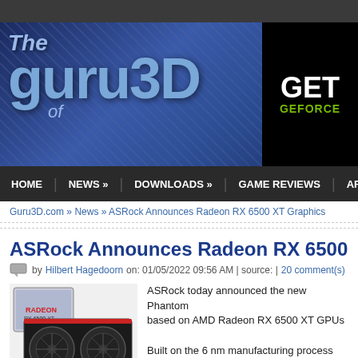[Figure (logo): The Guru of 3D website logo banner with blue circuit board background]
[Figure (logo): GET GEFORCE advertisement banner (black background, green text)]
HOME | NEWS » | DOWNLOADS » | GAME REVIEWS | ARTICLES
Guru3D.com » News » ASRock Announces Radeon RX 6500 XT Graphics
ASRock Announces Radeon RX 6500 XT Graphic
by Hilbert Hagedoorn on: 01/05/2022 09:56 AM | source: | 20 comment(s)
[Figure (photo): ASRock Radeon RX 6500 XT graphics card product photo with box]
ASRock today announced the new Phantom based on AMD Radeon RX 6500 XT GPUs

Built on the 6 nm manufacturing process architecture, the new ASRock graphics cards experiences for popular AAA and e-sports ti bandwidth, low-latency AMD Infinity Cache and high-speed 4 G Windows 11 and Microsoft DirectX 12 Ultimate, AMD Smart Ac